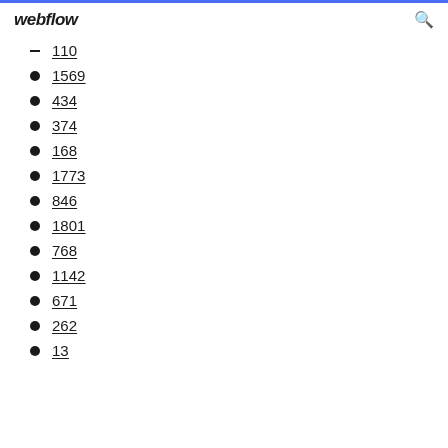webflow
110
1569
434
374
168
1773
846
1801
768
1142
671
262
13